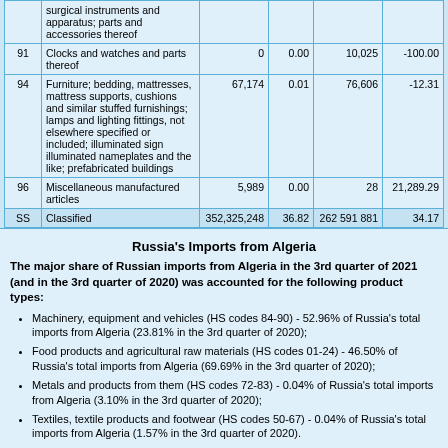|  | Description | Value | % | Prior Value | Change% |
| --- | --- | --- | --- | --- | --- |
|  | surgical instruments and apparatus; parts and accessories thereof |  |  |  |  |
| 91 | Clocks and watches and parts thereof | 0 | 0.00 | 10,025 | -100.00 |
| 94 | Furniture; bedding, mattresses, mattress supports, cushions and similar stuffed furnishings; lamps and lighting fittings, not elsewhere specified or included; illuminated sign illuminated nameplates and the like; prefabricated buildings | 67,174 | 0.01 | 76,606 | -12.31 |
| 96 | Miscellaneous manufactured articles | 5,989 | 0.00 | 28 | 21,289.29 |
| SS | Classified | 352,325,248 | 36.82 | 262 591 881 | 34.17 |
Russia's Imports from Algeria
The major share of Russian imports from Algeria in the 3rd quarter of 2021 (and in the 3rd quarter of 2020) was accounted for the following product types:
Machinery, equipment and vehicles (HS codes 84-90) - 52.96% of Russia's total imports from Algeria (23.81% in the 3rd quarter of 2020);
Food products and agricultural raw materials (HS codes 01-24) - 46.50% of Russia's total imports from Algeria (69.69% in the 3rd quarter of 2020);
Metals and products from them (HS codes 72-83) - 0.04% of Russia's total imports from Algeria (3.10% in the 3rd quarter of 2020);
Textiles, textile products and footwear (HS codes 50-67) - 0.04% of Russia's total imports from Algeria (1.57% in the 3rd quarter of 2020).